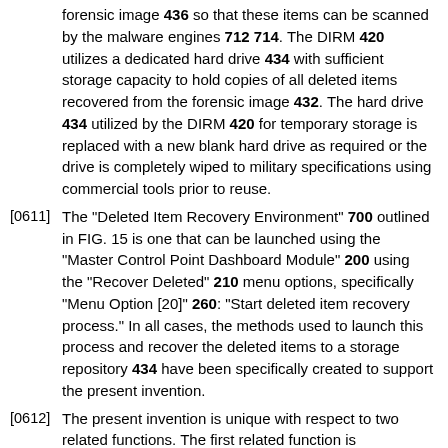forensic image 436 so that these items can be scanned by the malware engines 712 714. The DIRM 420 utilizes a dedicated hard drive 434 with sufficient storage capacity to hold copies of all deleted items recovered from the forensic image 432. The hard drive 434 utilized by the DIRM 420 for temporary storage is replaced with a new blank hard drive as required or the drive is completely wiped to military specifications using commercial tools prior to reuse.
[0611] The "Deleted Item Recovery Environment" 700 outlined in FIG. 15 is one that can be launched using the "Master Control Point Dashboard Module" 200 using the "Recover Deleted" 210 menu options, specifically "Menu Option [20]" 260: "Start deleted item recovery process." In all cases, the methods used to launch this process and recover the deleted items to a storage repository 434 have been specifically created to support the present invention.
[0612] The present invention is unique with respect to two related functions. The first related function is